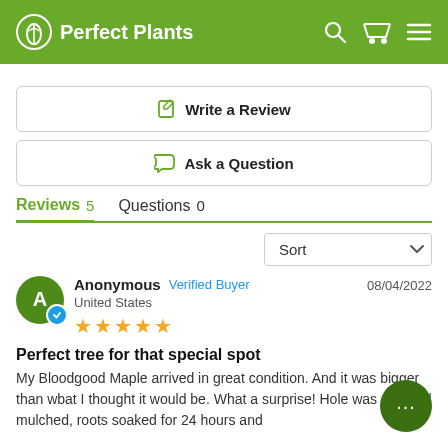Perfect Plants
Write a Review
Ask a Question
Reviews 5   Questions 0
Sort
Anonymous  Verified Buyer  United States  08/04/2022  ★★★★★
Perfect tree for that special spot
My Bloodgood Maple arrived in great condition. And it was bigger than wbat I thought it would be. What a surprise! Hole was dug and mulched, roots soaked for 24 hours and